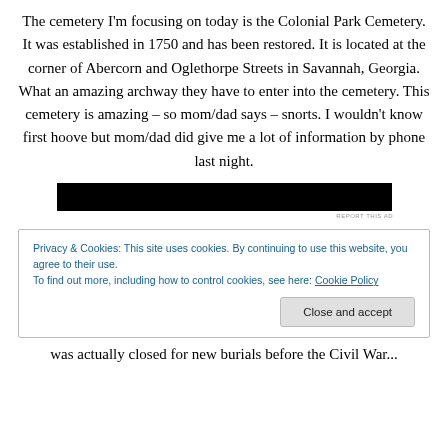The cemetery I'm focusing on today is the Colonial Park Cemetery. It was established in 1750 and has been restored. It is located at the corner of Abercorn and Oglethorpe Streets in Savannah, Georgia. What an amazing archway they have to enter into the cemetery. This cemetery is amazing – so mom/dad says – snorts. I wouldn't know first hoove but mom/dad did give me a lot of information by phone last night.
[Figure (other): Black rectangular advertisement banner]
REPORT THIS AD
Privacy & Cookies: This site uses cookies. By continuing to use this website, you agree to their use. To find out more, including how to control cookies, see here: Cookie Policy
Close and accept
was actually closed for new burials before the Civil War...